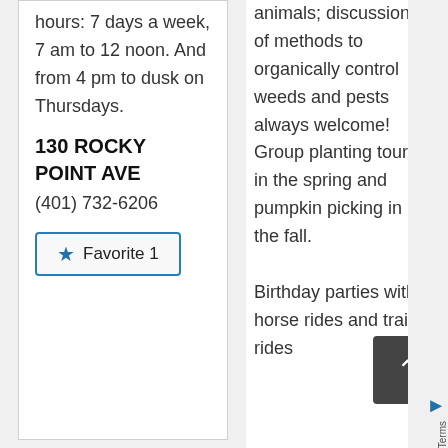hours: 7 days a week, 7 am to 12 noon. And from 4 pm to dusk on Thursdays.
130 ROCKY POINT AVE
(401) 732-6206
★ Favorite 1
animals; discussions of methods to organically control weeds and pests always welcome! Group planting tours in the spring and pumpkin picking in the fall. Birthday parties with horse rides and trailer rides